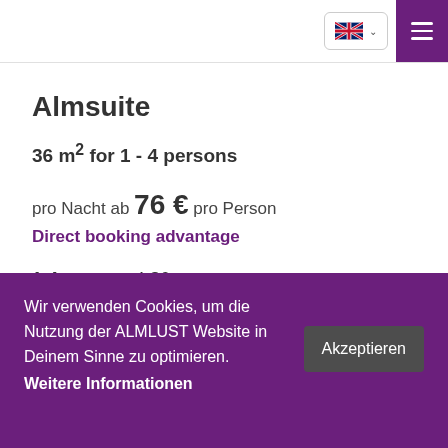Language selector and menu button
Almsuite
36 m² for 1 - 4 persons
pro Nacht ab 76 € pro Person
Direct booking advantage
1-4 persons * 36qm
double room at the Adventure Lodge (some with
Wir verwenden Cookies, um die Nutzung der ALMLUST Website in Deinem Sinne zu optimieren.
Weitere Informationen
Akzeptieren